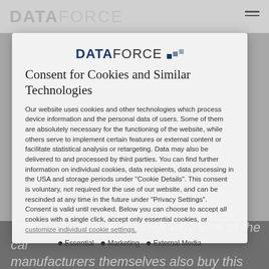DATAFORCE
[Figure (logo): DATAFORCE logo with blue square dot accents]
Consent for Cookies and Similar Technologies
Our website uses cookies and other technologies which process device information and the personal data of users. Some of them are absolutely necessary for the functioning of the website, while others serve to implement certain features or external content or facilitate statistical analysis or retargeting. Data may also be delivered to and processed by third parties. You can find further information on individual cookies, data recipients, data processing in the USA and storage periods under "Cookie Details". This consent is voluntary, not required for the use of our website, and can be rescinded at any time in the future under "Privacy Settings". Consent is valid until revoked. Below you can choose to accept all cookies with a single click, accept only essential cookies, or customize individual cookie settings.
Essential
Marketing
External Media
This is perhaps the reason why 93% of the car manufacturers themselves also buy this